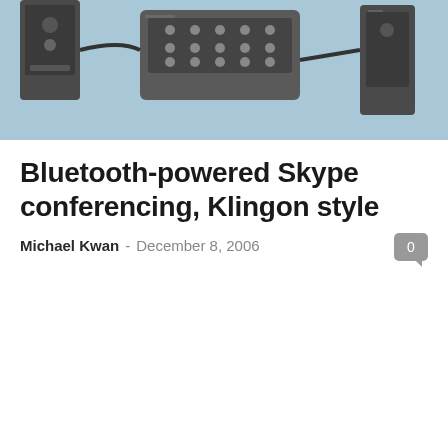[Figure (photo): A photograph of what appears to be Bluetooth-related hardware devices or electronic components against a light blue background, showing metallic connectors and devices.]
Bluetooth-powered Skype conferencing, Klingon style
Michael Kwan  -  December 8, 2006